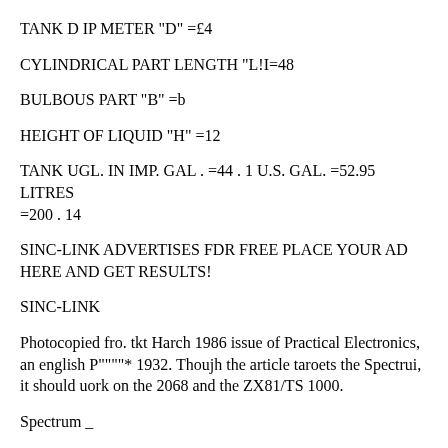TANK D IP METER "D" =£4
CYLINDRICAL PART LENGTH "L!I=48
BULBOUS PART "B" =b
HEIGHT OF LIQUID "H" =12
TANK UGL. IN IMP. GAL . =44 . 1 U.S. GAL. =52.95 LITRES =200 . 14
SINC-LINK ADVERTISES FDR FREE PLACE YOUR AD HERE AND GET RESULTS!
SINC-LINK
Photocopied fro. tkt Harch 1986 issue of Practical Electronics, an english P""""* 1932. Thoujh the article taroets the Spectrui, it should uork on the 2068 and the ZX81/TS 1000.
Spectrum _
Hardware
RESTART